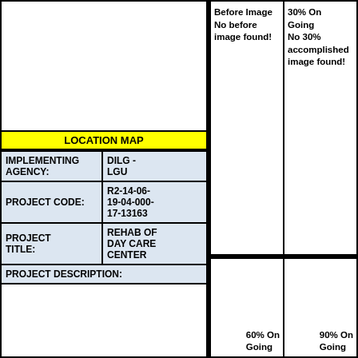[Figure (map): Location map area - empty white box]
LOCATION MAP
| IMPLEMENTING AGENCY: | DILG - LGU |
| PROJECT CODE: | R2-14-06-19-04-000-17-13163 |
| PROJECT TITLE: | REHAB OF DAY CARE CENTER |
PROJECT DESCRIPTION:
[Figure (photo): Before Image - No before image found!]
[Figure (photo): 30% On Going - No 30% accomplished image found!]
[Figure (photo): 60% On Going]
[Figure (photo): 90% On Going]